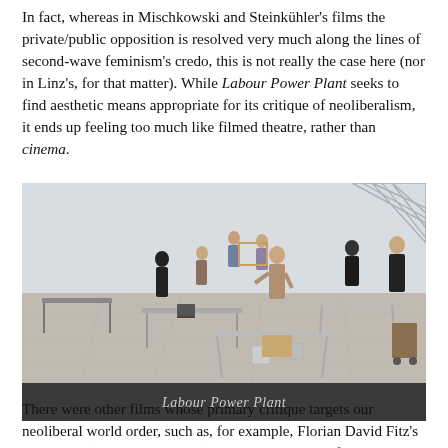In fact, whereas in Mischkowski and Steinkühler's films the private/public opposition is resolved very much along the lines of second-wave feminism's credo, this is not really the case here (nor in Linz's, for that matter). While Labour Power Plant seeks to find aesthetic means appropriate for its critique of neoliberalism, it ends up feeling too much like filmed theatre, rather than cinema.
[Figure (photo): Still from Labour Power Plant showing people in a large open room with folding tables and chairs arranged around the space, with geometric window patterns on the back wall.]
Labour Power Plant
There were other films whose primary critique targets our neoliberal world order, such as, for example, Florian David Fitz's 100 Dinge (100 Things, 2018), placing in the role of a mid-